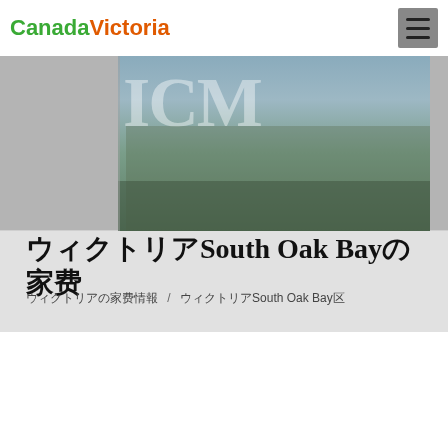CanadaVictoria
[Figure (photo): Hero image of Victoria city with 'I Love Victoria' large text overlay in white, showing waterfront cityscape]
ウィクトリアSouth Oak Bayの家賃
ウィクトリアの家賃情報 / ウィクトリアSouth Oak Bay区